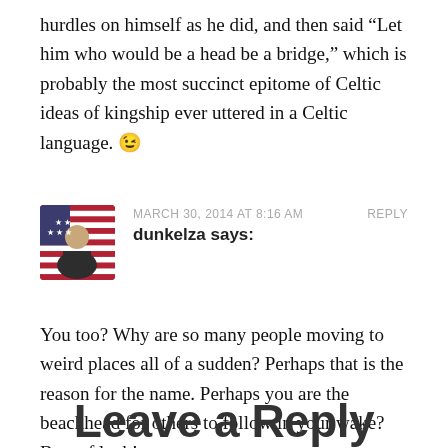hurdles on himself as he did, and then said “Let him who would be a head be a bridge,” which is probably the most succinct epitome of Celtic ideas of kingship ever uttered in a Celtic language. 😉
MARCH 30, 2014 AT 8:16 AM   REPLY
dunkelza says:
You too? Why are so many people moving to weird places all of a sudden? Perhaps that is the reason for the name. Perhaps you are the beachhead for others to follow in your wake? Best of luck!
Leave a Reply